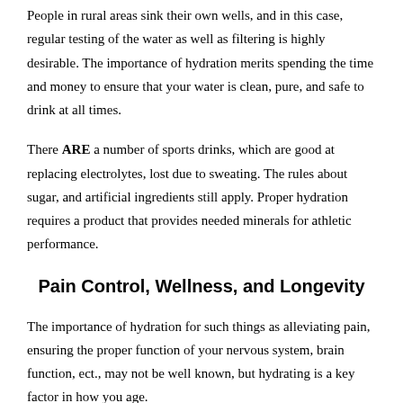People in rural areas sink their own wells, and in this case, regular testing of the water as well as filtering is highly desirable. The importance of hydration merits spending the time and money to ensure that your water is clean, pure, and safe to drink at all times.
There ARE a number of sports drinks, which are good at replacing electrolytes, lost due to sweating. The rules about sugar, and artificial ingredients still apply. Proper hydration requires a product that provides needed minerals for athletic performance.
Pain Control, Wellness, and Longevity
The importance of hydration for such things as alleviating pain, ensuring the proper function of your nervous system, brain function, ect., may not be well known, but hydrating is a key factor in how you age.
Since your body is an electrochemical organism, proper hydration is necessary for the conductance of nerve impulses and the transfer of information between